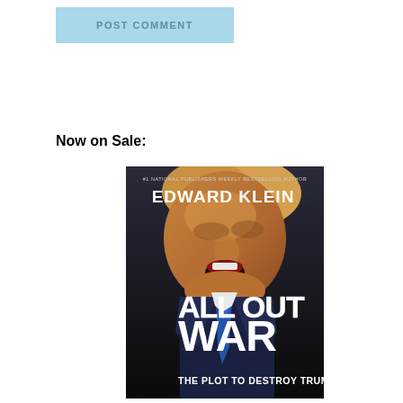[Figure (other): A light blue 'POST COMMENT' button]
Now on Sale:
[Figure (illustration): Book cover for 'All Out War: The Plot to Destroy Trump' by Edward Klein (#1 National Publishers Weekly Bestselling Author). Shows a man (Donald Trump) with mouth open, looking upward, on a dark background. Large white bold text reads 'ALL OUT WAR' and smaller text at bottom reads 'THE PLOT TO DESTROY TRUMP'.]